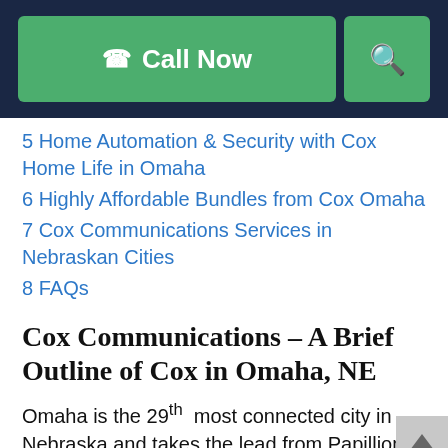Call Now | Search
5 Home Automation & Security with Cox Home Life in Omaha
6 Highly Affordable Bundles from Cox Omaha
7 Cox Communications Services in Nebraskan Cities
8 FAQs
Cox Communications – A Brief Outline of Cox in Omaha, NE
Omaha is the 29th most connected city in Nebraska and takes the lead from Papillion,